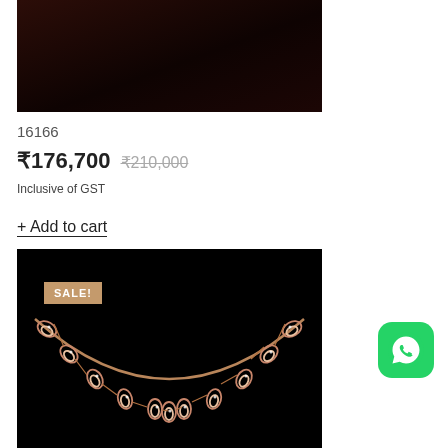[Figure (photo): Product photo top portion - dark/black background jewelry display box]
16166
₹176,700 ₹210,000 Inclusive of GST
+ Add to cart
[Figure (photo): Rose gold diamond necklace with linked oval/teardrop shaped motifs on black background, with SALE! badge]
[Figure (logo): WhatsApp icon - green rounded square with white phone handset logo]